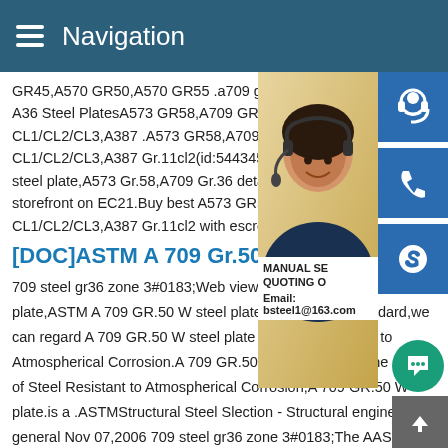Navigation
GR45,A570 GR50,A570 GR55 .a709 gr36 A36 Steel PlatesA573 GR58,A709 GR36/M CL1/CL2/CL3,A387 .A573 GR58,A709 GR CL1/CL2/CL3,A387 Gr.11cl2(id:5443454), steel plate,A573 Gr.58,A709 Gr.36 details storefront on EC21.Buy best A573 GR58,A CL1/CL2/CL3,A387 Gr.11cl2 with escrow b
[DOC]ASTM A 709 Gr.50 W s
709 steel gr36 zone 3#0183;Web viewA 7 plate,ASTM A 709 GR.50 W steel plate,under ASTM standard,we can regard A 709 GR.50 W steel plate as Steel Resistant to Atmospherical Corrosion.A 709 GR.50 W steel plate is one main of Steel Resistant to Atmospherical Corrosion,A 709 GR.50 W plate.is a .ASTMStructural Steel Slection - Structural engineer general Nov 07,2006 709 steel gr36 zone 3#0183;The AASHT
[Figure (photo): Customer service representative (woman with headset) with navigation icons (headset, phone, Skype) and email contact info overlay: MANUAL SE, QUOTING O, Email: bsteel1@163.com]